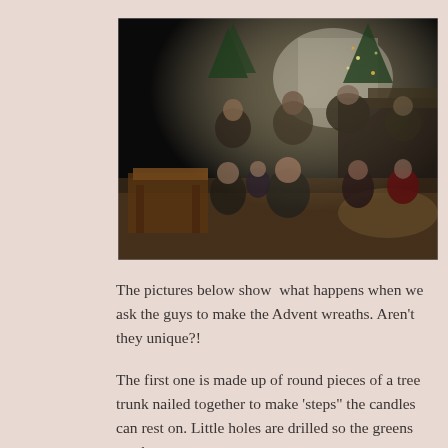[Figure (photo): Indoor Christmas gathering with multiple children and adults sitting on the floor and on a couch in a living room decorated with Christmas trees. A wooden side table is visible in the foreground.]
The pictures below show  what happens when we ask the guys to make the Advent wreaths. Aren't they unique?!
The first one is made up of round pieces of a tree trunk nailed together to make 'steps" the candles can rest on. Little holes are drilled so the greens can be